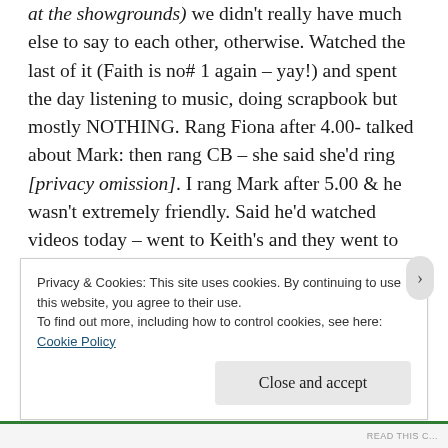at the showgrounds) we didn't really have much else to say to each other, otherwise. Watched the last of it (Faith is no# 1 again – yay!) and spent the day listening to music, doing scrapbook but mostly NOTHING. Rang Fiona after 4.00- talked about Mark: then rang CB – she said she'd ring [privacy omission]. I rang Mark after 5.00 & he wasn't extremely friendly. Said he'd watched videos today – went to Keith's and they went to Nicole's. [Privacy omission]. Then he refused my offer of the movies, saying he might go with Keith to the Drive-In. Didn't invite me [privacy omission] BASTARD. I hung
Privacy & Cookies: This site uses cookies. By continuing to use this website, you agree to their use.
To find out more, including how to control cookies, see here:
Cookie Policy
Close and accept